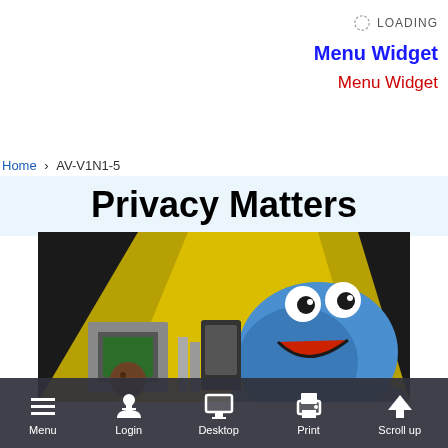[Figure (screenshot): Loading spinner icon with LOADING text, blue bold Menu Widget text, red Menu Widget text — top right UI elements]
Home › AV-V1N1-5
Privacy Matters
[Figure (photo): Cookie Monster puppet peeking over items on a desk with yellow background]
[Figure (screenshot): Bottom navigation bar with Menu, Login, Desktop, Print, Scroll up icons]